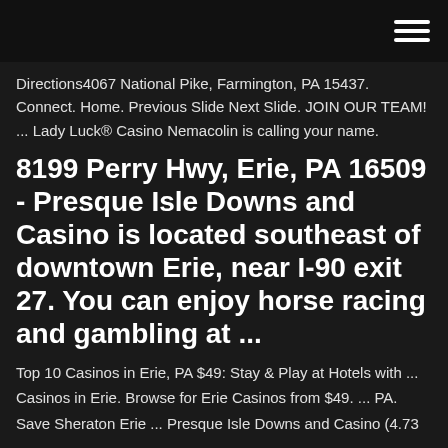Directions4067 National Pike, Farmington, PA 15437. Connect. Home. Previous Slide Next Slide. JOIN OUR TEAM! ... Lady Luck® Casino Nemacolin is calling your name.
8199 Perry Hwy, Erie, PA 16509 - Presque Isle Downs and Casino is located southeast of downtown Erie, near I-90 exit 27. You can enjoy horse racing and gambling at ...
Top 10 Casinos in Erie, PA $49: Stay & Play at Hotels with ... Casinos in Erie. Browse for Erie Casinos from $49. ... PA. Save Sheraton Erie ... Presque Isle Downs and Casino (4.73